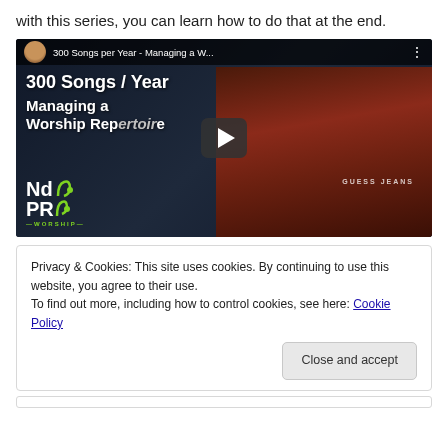with this series, you can learn how to do that at the end.
[Figure (screenshot): YouTube video thumbnail showing '300 Songs per Year - Managing a W...' with a man in a red Guess Jeans hoodie and NoPro Worship logo. Play button visible in center.]
Privacy & Cookies: This site uses cookies. By continuing to use this website, you agree to their use.
To find out more, including how to control cookies, see here: Cookie Policy
Close and accept